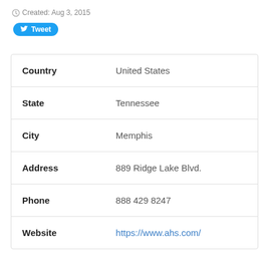Created: Aug 3, 2015
Tweet
| Country | United States |
| State | Tennessee |
| City | Memphis |
| Address | 889 Ridge Lake Blvd. |
| Phone | 888 429 8247 |
| Website | https://www.ahs.com/ |